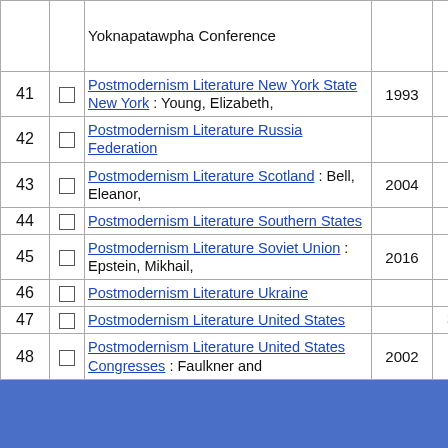| # | Select | Title | Year | Count |
| --- | --- | --- | --- | --- |
|  |  | Yoknapatawpha Conference |  |  |
| 41 | ☐ | Postmodernism Literature New York State New York : Young, Elizabeth, | 1993 | 1 |
| 42 | ☐ | Postmodernism Literature Russia Federation |  | 2 |
| 43 | ☐ | Postmodernism Literature Scotland : Bell, Eleanor, | 2004 | 1 |
| 44 | ☐ | Postmodernism Literature Southern States |  | 2 |
| 45 | ☐ | Postmodernism Literature Soviet Union : Epstein, Mikhail, | 2016 | 1 |
| 46 | ☐ | Postmodernism Literature Ukraine |  | 2 |
| 47 | ☐ | Postmodernism Literature United States |  | 39 |
| 48 | ☐ | Postmodernism Literature United States Congresses : Faulkner and… | 2002 | 1 |